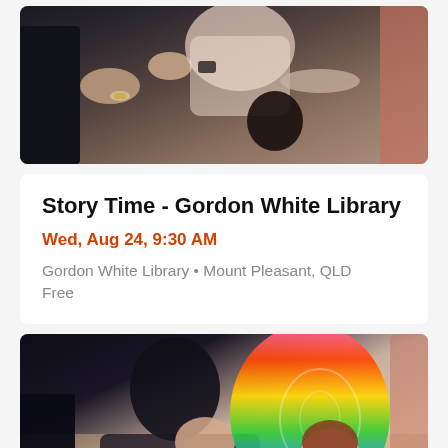[Figure (photo): Adults and children sitting in a circle during a story time session at a library, hands reaching out or clapping.]
Story Time - Gordon White Library
Wed, Aug 24, 9:30 AM
Gordon White Library • Mount Pleasant, QLD
Free
[Figure (photo): A mother leaning over a toddler dressed in a colorful rainbow butterfly costume during a library story time event.]